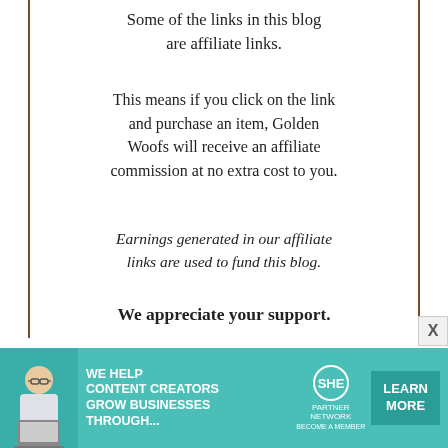Some of the links in this blog are affiliate links.
This means if you click on the link and purchase an item, Golden Woofs will receive an affiliate commission at no extra cost to you.
Earnings generated in our affiliate links are used to fund this blog.
We appreciate your support.
[Figure (logo): Golden Woofs circular logo with a golden retriever illustration and text 'Golden WOOFS' in gold/orange tones]
Golden Retriever Resources / Adoption
[Figure (infographic): SHE Partner Network advertisement banner with teal background, woman with laptop photo, 'We Help Content Creators Grow Businesses Through...' text, SHE Media logo, and 'Learn More' button]